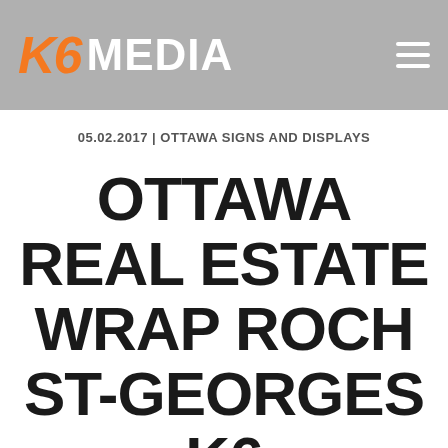K6 MEDIA
05.02.2017 | OTTAWA SIGNS AND DISPLAYS
OTTAWA REAL ESTATE WRAP ROCH ST-GEORGES K6 EXPERIENCE